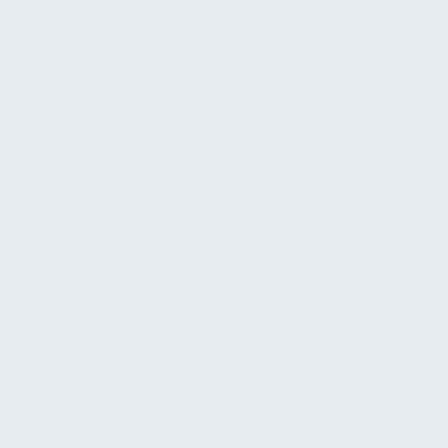ion in
Imaging-Dr
Dirk
Colditz]]
''August 23,
2010''
*
[[Media:Plan
as of 11-8-
10.jpg|Proje
ct plan]]
''.jpg
version as
of 11-8-10''
==Reference
Articles==
*Are we
ready? A
*Are we
ready? A